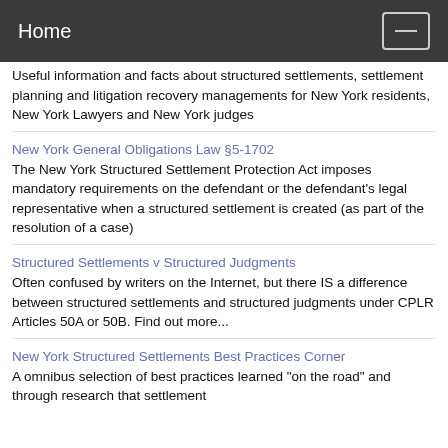Home
Useful information and facts about structured settlements, settlement planning and litigation recovery managements for New York residents, New York Lawyers and New York judges
New York General Obligations Law §5-1702
The New York Structured Settlement Protection Act imposes mandatory requirements on the defendant or the defendant's legal representative when a structured settlement is created (as part of the resolution of a case)
Structured Settlements v Structured Judgments
Often confused by writers on the Internet, but there IS a difference between structured settlements and structured judgments under CPLR Articles 50A or 50B. Find out more...
New York Structured Settlements Best Practices Corner
A omnibus selection of best practices learned "on the road" and through research that settlement